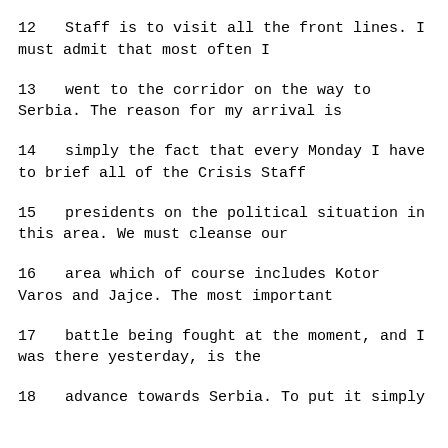12     Staff is to visit all the front lines.  I must admit that most often I
13     went to the corridor on the way to Serbia.  The reason for my arrival is
14     simply the fact that every Monday I have to brief all of the Crisis Staff
15     presidents on the political situation in this area.  We must cleanse our
16     area which of course includes Kotor Varos and Jajce.  The most important
17     battle being fought at the moment, and I was there yesterday, is the
18     advance towards Serbia.  To put it simply